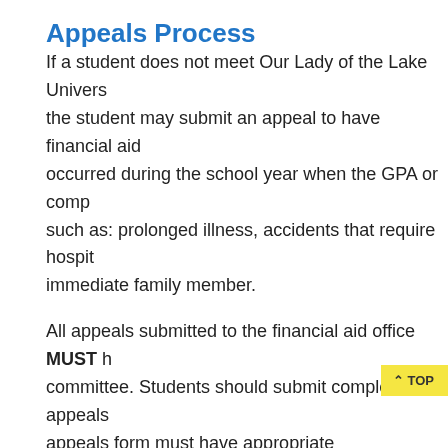Appeals Process
If a student does not meet Our Lady of the Lake Univers... the student may submit an appeal to have financial aid... occurred during the school year when the GPA or comp... such as: prolonged illness, accidents that require hospit... immediate family member.
All appeals submitted to the financial aid office MUST h... committee. Students should submit completed appeals... appeals form must have appropriate documentation at... financial aid appeals committee is final.
Student Procedures
Student is notified by the Financial Aid Office that th...
If extenuating circumstances exist, then the studen... Financial Aid Office and attaching the appropriate d...